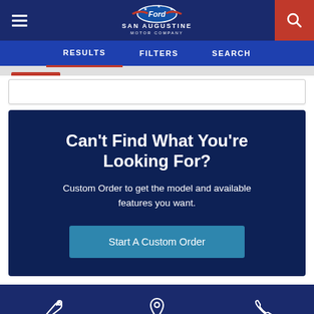San Augustine Motor Company – header with hamburger menu, logo, and search icon
RESULTS | FILTERS | SEARCH
Can't Find What You're Looking For? Custom Order to get the model and available features you want. Start A Custom Order
Footer icons: wrench, location pin, phone